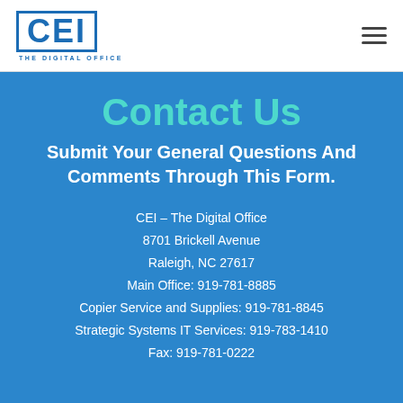[Figure (logo): CEI - The Digital Office logo in blue with border and tagline]
Contact Us
Submit Your General Questions And Comments Through This Form.
CEI – The Digital Office
8701 Brickell Avenue
Raleigh, NC 27617
Main Office: 919-781-8885
Copier Service and Supplies: 919-781-8845
Strategic Systems IT Services: 919-783-1410
Fax: 919-781-0222